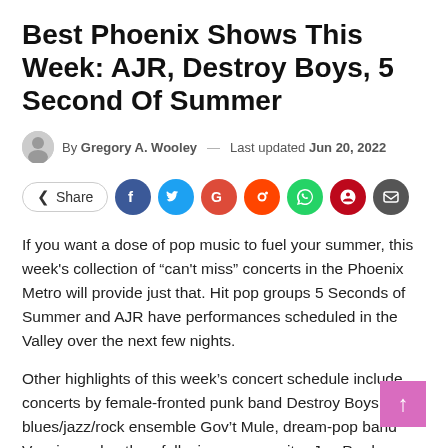Best Phoenix Shows This Week: AJR, Destroy Boys, 5 Second Of Summer
By Gregory A. Wooley — Last updated Jun 20, 2022
[Figure (infographic): Share button row with social media icons: Facebook, Twitter, Google+, Reddit, WhatsApp, Pinterest, Email]
If you want a dose of pop music to fuel your summer, this week's collection of “can't miss” concerts in the Phoenix Metro will provide just that. Hit pop groups 5 Seconds of Summer and AJR have performances scheduled in the Valley over the next few nights.
Other highlights of this week’s concert schedule include concerts by female-fronted punk band Destroy Boys, blues/jazz/rock ensemble Gov’t Mule, dream-pop band Vansire and author -folk singer-songwriter Joe Purdy.
Read on for more details on each of these shows or click on to